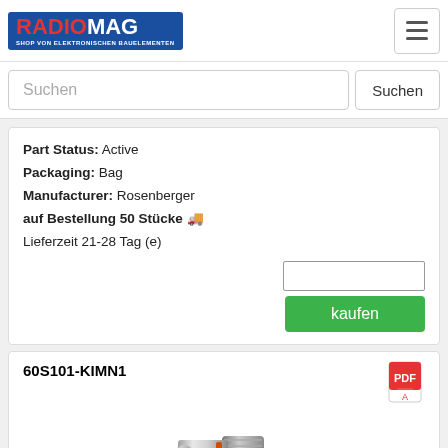RADIOMAG - SHOP VON ELEKTRONISCHEN BAUELEMENTEN
Suchen
Part Status: Active
Packaging: Bag
Manufacturer: Rosenberger
auf Bestellung 50 Stücke 🚚
Lieferzeit 21-28 Tag (e)
kaufen
60S101-KIMN1
[Figure (photo): Photo of a silver/metallic RF coaxial connector, threaded body with a visible center pin and orange O-ring seal at base.]